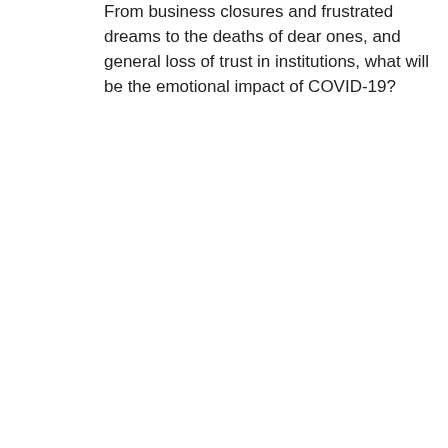From business closures and frustrated dreams to the deaths of dear ones, and general loss of trust in institutions, what will be the emotional impact of COVID-19?
2.
I grew up listening to a French rock band called ‘Rita Mitsouko’. They were quirky punks, with funky clothes and philosophical lyrics. One of their songs accompanied my teenage years. It went: ‘On n’a pas que de l’amour, ça non, on n’a pas que de l’amour à vendre, ah ouais, y a de la haine.’ For non French speakers out there, the translation goes something like ‘we don’t have only love, oh no, we don’t have only love for sale, oh yes, there is hatred’. Later in the song (still in translation), it goes ‘hatred needs to spread as well, of yes, without brakes… we have to put it somewhere after all’.
That song came up in one of my feeds during a phase of deep lockdown, and triggered reflection. I holds some wisdom in its lyrics (wow, I grew up on good music, haha).
3.